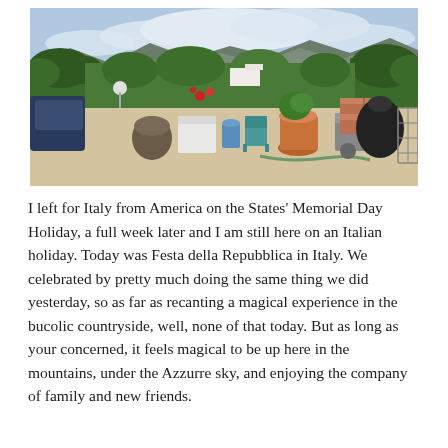[Figure (photo): Outdoor terrace/patio scene in Italy with potted plants, a teal chair, garden hose, stacked bricks, a black trash bag, and metal structure. Mountains and white clouds visible in background, green hedges border the scene.]
I left for Italy from America on the States' Memorial Day Holiday, a full week later and I am still here on an Italian holiday. Today was Festa della Repubblica in Italy. We celebrated by pretty much doing the same thing we did yesterday, so as far as recanting a magical experience in the bucolic countryside, well, none of that today. But as long as your concerned, it feels magical to be up here in the mountains, under the Azzurre sky, and enjoying the company of family and new friends.